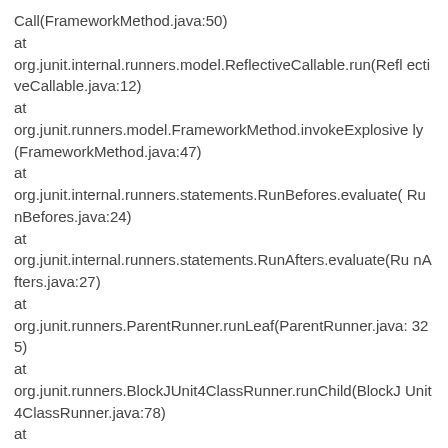Call(FrameworkMethod.java:50)
at org.junit.internal.runners.model.ReflectiveCallable.run(ReflectiveCallable.java:12)
at org.junit.runners.model.FrameworkMethod.invokeExplosively(FrameworkMethod.java:47)
at org.junit.internal.runners.statements.RunBefores.evaluate(RunBefores.java:24)
at org.junit.internal.runners.statements.RunAfters.evaluate(RunAfters.java:27)
at org.junit.runners.ParentRunner.runLeaf(ParentRunner.java:325)
at org.junit.runners.BlockJUnit4ClassRunner.runChild(BlockJUnit4ClassRunner.java:78)
at org.junit.runners.BlockJUnit4ClassRunner.runChild(BlockJUnit4ClassRunner.java:57)